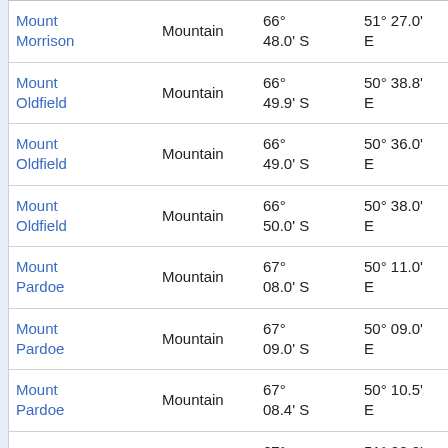| Name | Type | Latitude | Longitude | Distance |
| --- | --- | --- | --- | --- |
| Mount Morrison | Mountain | 66° 48.0' S | 51° 27.0' E | 26.8 km at 41° |
| Mount Oldfield | Mountain | 66° 49.9' S | 50° 38.8' E | 24.4 km at 314° |
| Mount Oldfield | Mountain | 66° 49.0' S | 50° 36.0' E | 27.0 km at 313° |
| Mount Oldfield | Mountain | 66° 50.0' S | 50° 38.0' E | 24.7 km at 312° |
| Mount Pardoe | Mountain | 67° 08.0' S | 50° 11.0' E | 41.1 km at 246° |
| Mount Pardoe | Mountain | 67° 09.0' S | 50° 09.0' E | 43.2 km at 244° |
| Mount Pardoe | Mountain | 67° 08.4' S | 50° 10.5' E | 41.7 km at 245° |
| Mount Park | Mountain | 67° 14.0' S | 51° 00.0' E | 27.9 km at 184° |